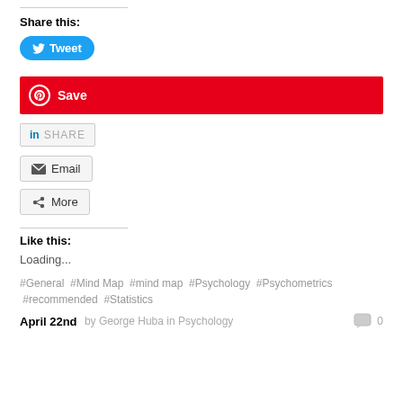Share this:
[Figure (other): Twitter Tweet button (blue rounded pill button with Twitter bird icon and 'Tweet' text)]
[Figure (other): Pinterest Save button (red full-width bar with Pinterest logo and 'Save' text)]
[Figure (other): LinkedIn Share button (grey bordered button with 'in Share' text)]
[Figure (other): Email button (grey bordered button with envelope icon and 'Email' text)]
[Figure (other): More button (grey bordered button with share icon and 'More' text)]
Like this:
Loading...
#General #Mind Map #mind map #Psychology #Psychometrics #recommended #Statistics
April 22nd by George Huba in Psychology  0